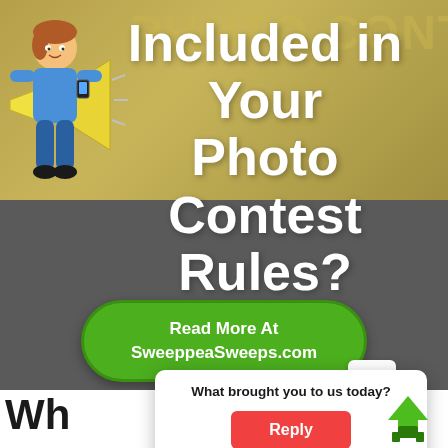[Figure (illustration): A web page screenshot showing a photo contest article header. Dark olive/tan background at top with cartoon illustration of a person with a megaphone on the left. Large white bold text reads 'Included in Your Photo Contest Rules?' overlaid on the image. Below, a dark gray background area contains a green rounded button with white text 'Read More At SweeppeaSweeps.com'. A popup dialog box appears at the bottom right asking 'What brought you to us today?' with a red 'Reply' button. A green upward arrow icon appears at bottom right corner. At the bottom, partial bold black text beginning with 'Wh' and ending with 'led' is visible.]
Included in Your Photo Contest Rules?
Read More At SweeppeaSweeps.com
What brought you to us today?
Reply